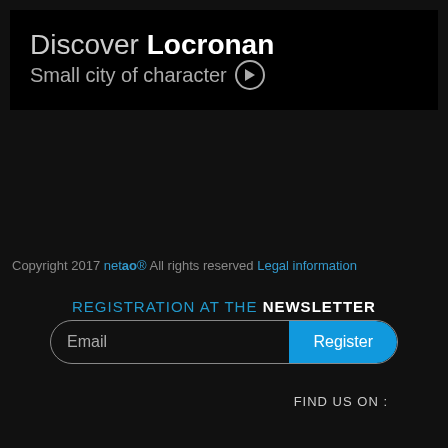Discover Locronan
Small city of character ▶
Copyright 2017 netao® All rights reserved Legal information
REGISTRATION AT THE NEWSLETTER
Email   Register
FIND US ON :